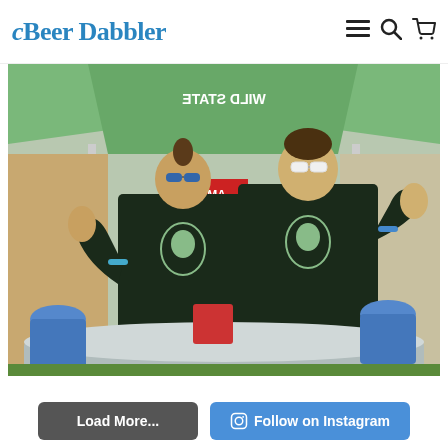Beer Dabbler
[Figure (photo): Two men wearing dark Wild State Cider t-shirts giving thumbs up under a green tent at an outdoor beer festival. A galvanized tub is in the foreground with blue barrels visible in the background.]
Load More...
Follow on Instagram